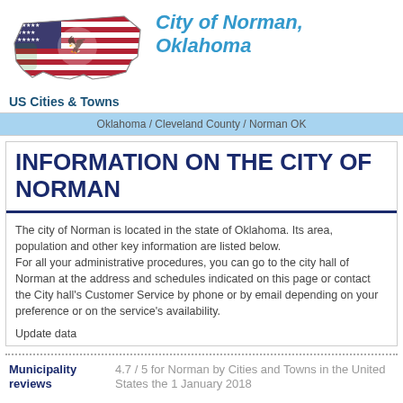[Figure (illustration): US map with American flag overlay and bald eagle seal, labeled 'US Cities & Towns']
City of Norman, Oklahoma
Oklahoma / Cleveland County / Norman OK
INFORMATION ON THE CITY OF NORMAN
The city of Norman is located in the state of Oklahoma. Its area, population and other key information are listed below.
For all your administrative procedures, you can go to the city hall of Norman at the address and schedules indicated on this page or contact the City hall's Customer Service by phone or by email depending on your preference or on the service's availability.
Update data
Municipality reviews
4.7 / 5 for Norman by Cities and Towns in the United States the 1 January 2018